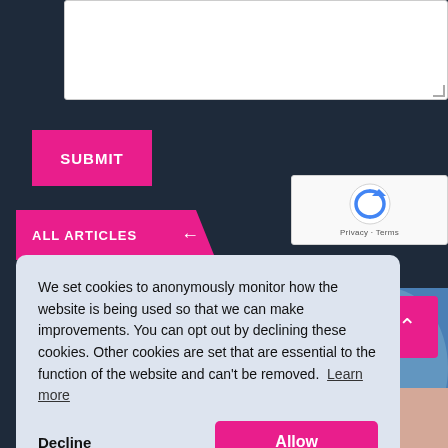[Figure (screenshot): Textarea input box with resize handle]
SUBMIT
ALL ARTICLES ←
[Figure (other): reCAPTCHA widget with circular arrow icon and Privacy · Terms text]
We set cookies to anonymously monitor how the website is being used so that we can make improvements. You can opt out by declining these cookies. Other cookies are set that are essential to the function of the website and can't be removed. Learn more
Decline
Allow
[Figure (photo): Background photo of medical/CPR training scene]